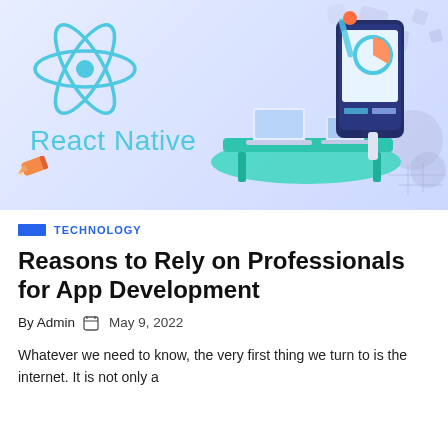[Figure (illustration): React Native logo with cyan atom icon and text 'React Native' on a light purple/blue gradient background with an isometric illustration of mobile app development devices — smartphone, laptop, desk setup — on the right side. A pencil icon is in the lower left.]
TECHNOLOGY
Reasons to Rely on Professionals for App Development
By Admin  🗓  May 9, 2022
Whatever we need to know, the very first thing we turn to is the internet. It is not only a